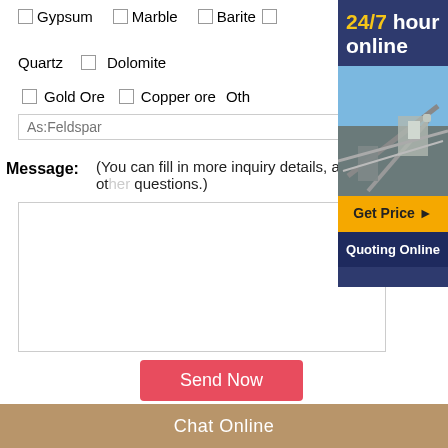Gypsum  Marble  Barite
Quartz  Dolomite
Gold Ore  Copper ore  Oth...
As:Feldspar
Message: (You can fill in more inquiry details, any ot... questions.)
[Figure (screenshot): 24/7 hour online ad banner with industrial equipment image, Get Price button, Quoting Online button]
Send Now
granite stone jaw crusher, granite stone jaw crusher ...
Stone Granite Jaw Crusher India Stone Crushing Machine
Chat Online